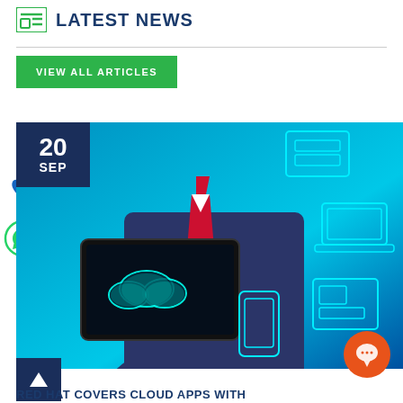LATEST NEWS
VIEW ALL ARTICLES
[Figure (photo): Person in suit holding smartphone displaying cloud computing graphic, surrounded by cyan digital device icons on blue background. Date badge shows 20 SEP.]
RED HAT COVERS CLOUD APPS WITH